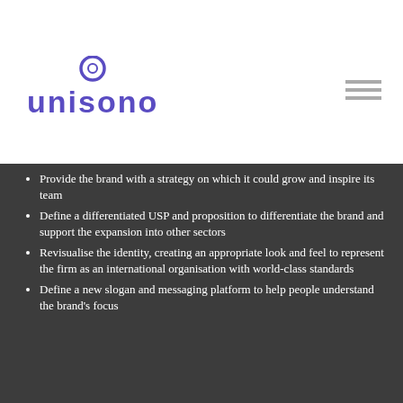[Figure (logo): Unisono logo: purple circle/ring icon above the word 'unisono' in purple bold sans-serif font]
Provide the brand with a strategy on which it could grow and inspire its team
Define a differentiated USP and proposition to differentiate the brand and support the expansion into other sectors
Revisualise the identity, creating an appropriate look and feel to represent the firm as an international organisation with world-class standards
Define a new slogan and messaging platform to help people understand the brand's focus
Designing a clear research company brand strategy
To solve Gulf Researcher's rebrand issue, we:
Conducted stakeholder workshops, gaining strategic